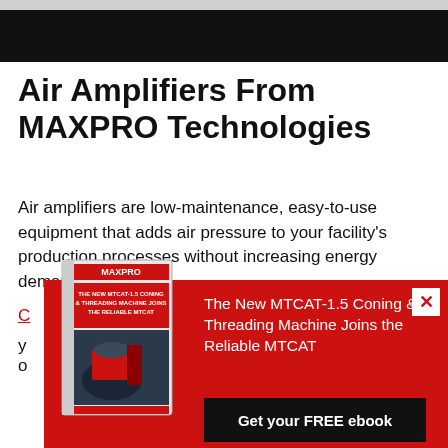[Figure (other): Dark top navigation banner]
Air Amplifiers From MAXPRO Technologies
Air amplifiers are low-maintenance, easy-to-use equipment that adds air pressure to your facility's production processes without increasing energy demand.
[Figure (other): Popup advertisement with red background showing MAXPRO MTCAT-1.5 ebook, book cover image, title text 'The New MTCAT-1.5 Coning & Threading Machine Joins the Reliable MTCAT', and a 'Get your FREE ebook' button]